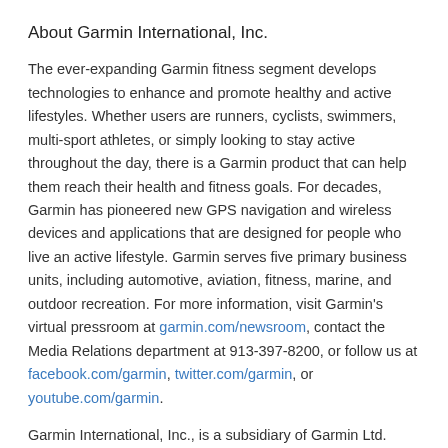About Garmin International, Inc.
The ever-expanding Garmin fitness segment develops technologies to enhance and promote healthy and active lifestyles. Whether users are runners, cyclists, swimmers, multi-sport athletes, or simply looking to stay active throughout the day, there is a Garmin product that can help them reach their health and fitness goals. For decades, Garmin has pioneered new GPS navigation and wireless devices and applications that are designed for people who live an active lifestyle. Garmin serves five primary business units, including automotive, aviation, fitness, marine, and outdoor recreation. For more information, visit Garmin's virtual pressroom at garmin.com/newsroom, contact the Media Relations department at 913-397-8200, or follow us at facebook.com/garmin, twitter.com/garmin, or youtube.com/garmin.
Garmin International, Inc., is a subsidiary of Garmin Ltd.